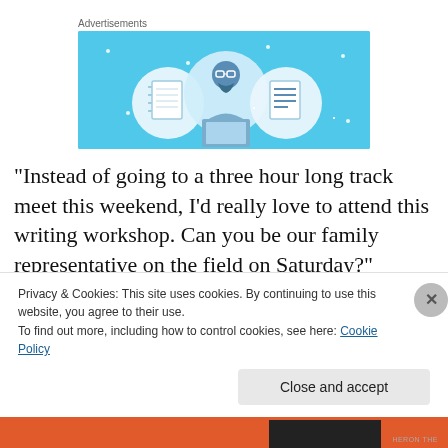Advertisements
[Figure (illustration): Blue advertisement banner with three circular icons: a notebook, a person with glasses, and a document/list, on a light blue background with small star/dot decorations.]
“Instead of going to a three hour long track meet this weekend, I’d really love to attend this writing workshop. Can you be our family representative on the field on Saturday?”
Privacy & Cookies: This site uses cookies. By continuing to use this website, you agree to their use.
To find out more, including how to control cookies, see here: Cookie Policy
Close and accept